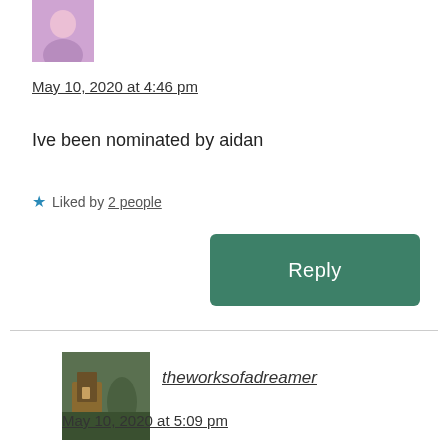[Figure (photo): Small avatar image of an anime-style character with purple/pink tones, partially cut off at top]
May 10, 2020 at 4:46 pm
Ive been nominated by aidan
★ Liked by 2 people
[Figure (other): Reply button, green rounded rectangle]
[Figure (photo): Small avatar image showing an outdoor/nature scene, square thumbnail]
theworksofadreamer
May 10, 2020 at 5:09 pm